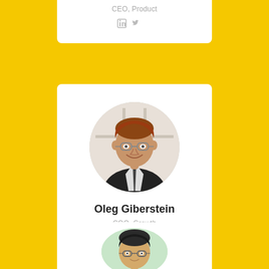CEO, Product
[Figure (other): Social media icons: LinkedIn and Twitter]
[Figure (photo): Circular portrait photo of Oleg Giberstein, a red-haired man wearing glasses and a dark suit with a tie, smiling]
Oleg Giberstein
COO, Growth
[Figure (other): Social media icons: LinkedIn and Twitter]
[Figure (photo): Partial circular portrait photo of a man wearing glasses, shown from the neck up, on a light green background]